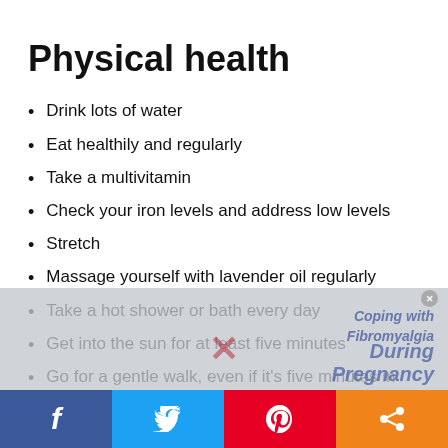Physical health
Drink lots of water
Eat healthily and regularly
Take a multivitamin
Check your iron levels and address low levels
Stretch
Massage yourself with lavender oil regularly
Take a hot shower or bath every day
Get into the sun for at least five minutes
Go for a gentle walk, even if it's five minutes in
[Figure (screenshot): Social media share bar at the bottom with Facebook, Twitter, Pinterest, and share buttons. An overlay ad for 'Coping with Fibromyalgia During Pregnancy' partially covers the lower list items.]